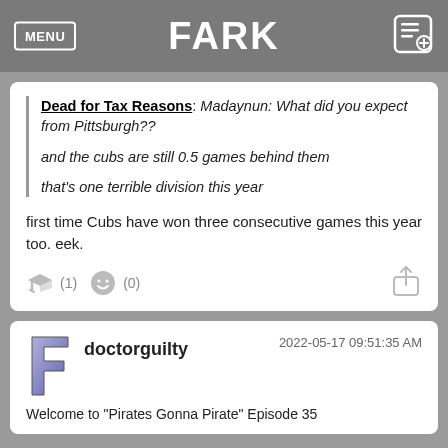FARK
Dead for Tax Reasons: Madaynun: What did you expect from Pittsburgh??

and the cubs are still 0.5 games behind them

that's one terrible division this year
first time Cubs have won three consecutive games this year too. eek.
2022-05-17 09:51:35 AM
doctorguilty
Welcome to "Pirates Gonna Pirate" Episode 35